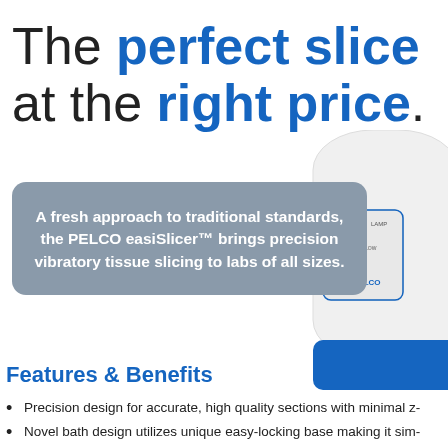The perfect slice at the right price.
A fresh approach to traditional standards, the PELCO easiSlicer™ brings precision vibratory tissue slicing to labs of all sizes.
[Figure (photo): PELCO easiSlicer device, white and blue vibratory tissue slicer, shown partially on the right side of the page]
Features & Benefits
Precision design for accurate, high quality sections with minimal z-
Novel bath design utilizes unique easy-locking base making it sim-